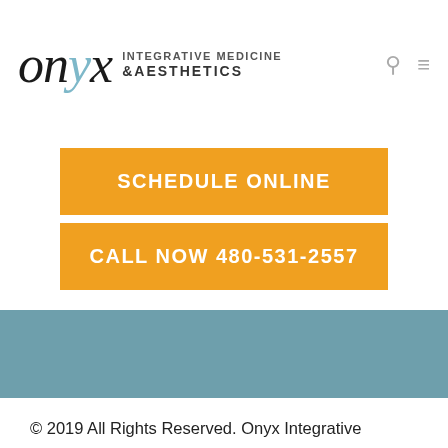[Figure (logo): Onyx Integrative Medicine & Aesthetics logo with stylized italic text and teal accent on letter y]
SCHEDULE ONLINE
CALL NOW 480-531-2557
[Figure (other): Teal/blue-grey horizontal band]
© 2019 All Rights Reserved. Onyx Integrative Medicine and Aesthetics. The Onyx Integrative Medicine site is for general informational purposes only. Not intended to diagnose or treat any condition, illness or disease.